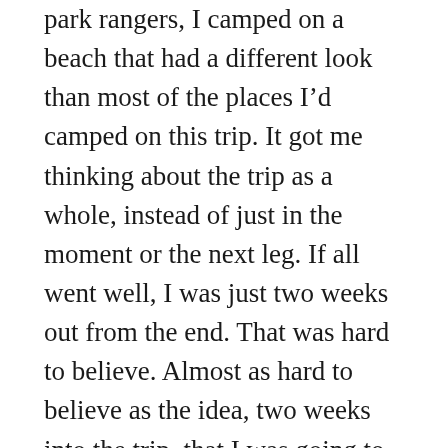park rangers, I camped on a beach that had a different look than most of the places I'd camped on this trip. It got me thinking about the trip as a whole, instead of just in the moment or the next leg. If all went well, I was just two weeks out from the end. That was hard to believe. Almost as hard to believe as the idea, two weeks into the trip, that I was going to paddle the entirety of the West Coast of this country.
It highlights one of the pretty cool things, which is that I got to watch the slow change in the land. You'd be hard-pressed to mistake this for the Washington coast! And I got to watch the change at human-powered speed.
As I watched the land and vegetation change, I also got